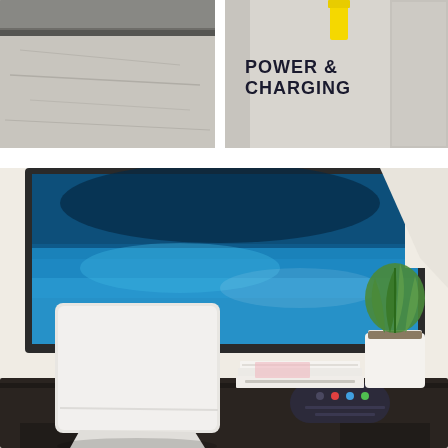[Figure (photo): Close-up photo of a metal surface with yellow cable/cord visible at top, showing industrial or construction materials]
POWER & CHARGING
[Figure (photo): Living room scene showing a large flat-screen TV mounted on a white wall displaying a blue water scene, with a white flat rectangular device (likely a wireless antenna or charger) propped on a dark TV stand, along with a TV remote, stacked books/magazines, and a green potted plant]